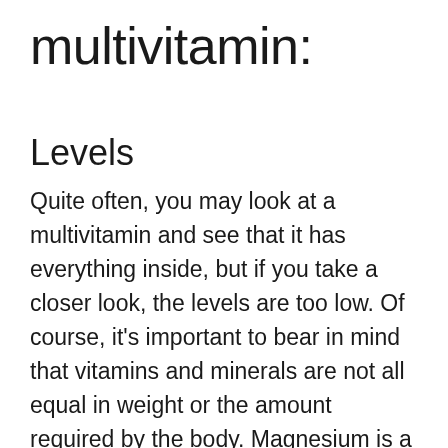multivitamin:
Levels
Quite often, you may look at a multivitamin and see that it has everything inside, but if you take a closer look, the levels are too low. Of course, it's important to bear in mind that vitamins and minerals are not all equal in weight or the amount required by the body. Magnesium is a classic example of an ingredient that takes up a lot of space for a small amount. So, if you're keen on getting a higher intake of magnesium, and can't find a multivitamin with a content higher than 100mg, it's probably best to supplement that separately. Equally, if you find a multivitamin with